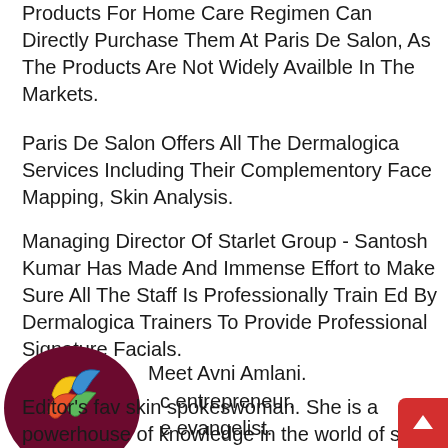Products For Home Care Regimen Can Directly Purchase Them At Paris De Salon, As The Products Are Not Widely Availble In The Markets.
Paris De Salon Offers All The Dermalogica Services Including Their Complementory Face Mapping, Skin Analysis.
Managing Director Of Starlet Group - Santosh Kumar Has Made And Immense Effort to Make Sure All The Staff Is Professionally Train Ed By Dermalogica Trainers To Provide Professional Signature Facials.
Meet Avni Amlani.
c entrepreneur.
e evangelist.
[Figure (logo): Circular dark maroon chat bubble icon with colorful banana/fruit emoji graphics inside]
Editor's fav skin spokeswoman. She is a powerhouse of knowledge in the world of skin care. Avni has more tha